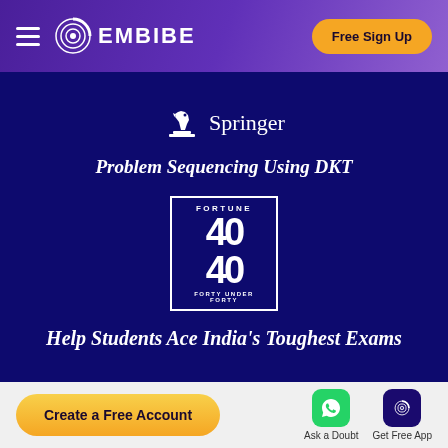EMBIBE — Free Sign Up
[Figure (logo): Springer horse chess piece logo with text 'Springer']
Problem Sequencing Using DKT
[Figure (logo): Fortune 40 Under 40 badge logo]
Help Students Ace India's Toughest Exams
Create a Free Account | Ask a Doubt | Get Free App